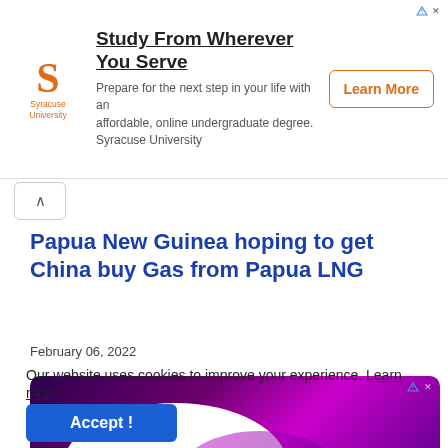[Figure (other): Advertisement banner for Syracuse University featuring orange S logo, headline 'Study From Wherever You Serve', subtext 'Prepare for the next step in your life with an affordable, online undergraduate degree. Syracuse University', and orange 'Learn More' button]
Papua New Guinea hoping to get China buy Gas from Papua LNG
February 06, 2022
[Figure (other): Advertisement banner with purple/magenta gradient background, white curved shape, and blue quotation mark icon]
Our website uses cookies to improve your experience. Learn more
Accept !